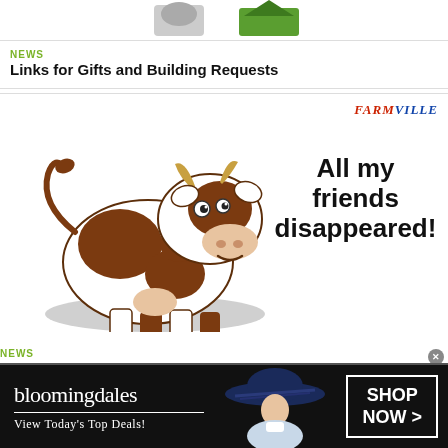[Figure (illustration): Top partial images of game items/icons, cropped at top]
NEWS
Links for Gifts and Building Requests
[Figure (illustration): FarmVille advertisement image featuring a cartoon cow with text 'All my friends disappeared!' and the FarmVille logo in red and blue]
NEWS
Disappearing Animals and broken buildings.
[Figure (advertisement): Bloomingdale's advertisement with black background, store logo, 'View Today's Top Deals!' text, photo of woman in blue hat, and 'SHOP NOW >' button]